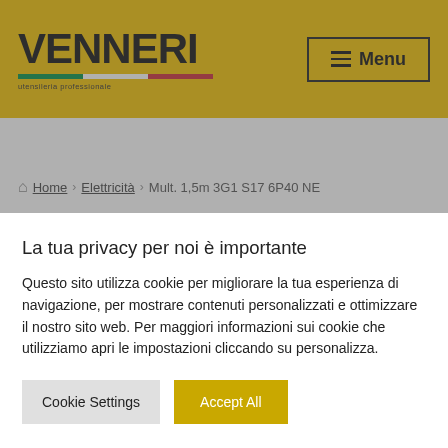VENNERI — Menu
Home › Elettricità › Mult. 1,5m 3G1 S17 6P40 NE
[Figure (photo): Partial product image at bottom of white area]
La tua privacy per noi è importante
Questo sito utilizza cookie per migliorare la tua esperienza di navigazione, per mostrare contenuti personalizzati e ottimizzare il nostro sito web. Per maggiori informazioni sui cookie che utilizziamo apri le impostazioni cliccando su personalizza.
Cookie Settings | Accept All